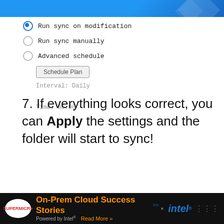[Figure (screenshot): Top blue gradient banner strip with decorative diamond shapes]
Run sync on modification (selected radio button)
Run sync manually
Advanced schedule
Schedule Plan (button)
Interval: Daily
Time: 00:00
7. If everything looks correct, you can Apply the settings and the folder will start to sync!
[Figure (screenshot): Shared Folder Sync Wizard dialog showing 'Confirm settings' screen with blue header area. Title bar says 'Shared Folder Sync Wizard' with close button. Blue area shows bold text 'Confirm settings' and description 'The wizard will apply the following settings. The process will take a few seconds.' Below is start of a table with columns Item and Value.]
[Figure (screenshot): Advertisement banner: Supermicro logo, On-Prem Cloud Success Stories Powered by Intel Read More, Intel logo, PX badge, W logo]